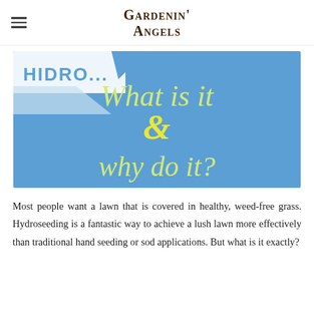Gardenin' Angels
[Figure (illustration): Blue banner image with text 'What is it & why do it?' in yellow-green decorative font, with a partial 'HIDRO...' label visible at top left on a white ribbon element.]
Most people want a lawn that is covered in healthy, weed-free grass. Hydroseeding is a fantastic way to achieve a lush lawn more effectively than traditional hand seeding or sod applications. But what is it exactly?